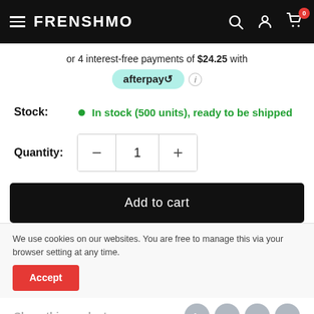FRENSHMO — navigation header with hamburger menu, search, account, and cart (0 items)
or 4 interest-free payments of $24.25 with afterpay
Stock: In stock (500 units), ready to be shipped
Quantity: 1
Add to cart
We use cookies on our websites. You are free to manage this via your browser setting at any time.
Accept
Share this product